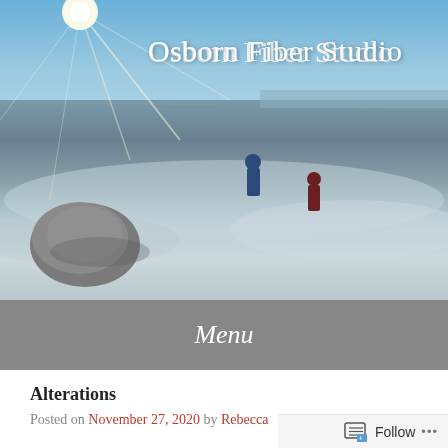[Figure (photo): Snowy winter landscape with two people walking in the distance, a large rock in the foreground, bright sun with lens flare in upper left, and blue sky. Site header image for Osborn Fiber Studio.]
Osborn Fiber Studio
Menu
Alterations
Posted on November 27, 2020 by Rebecca